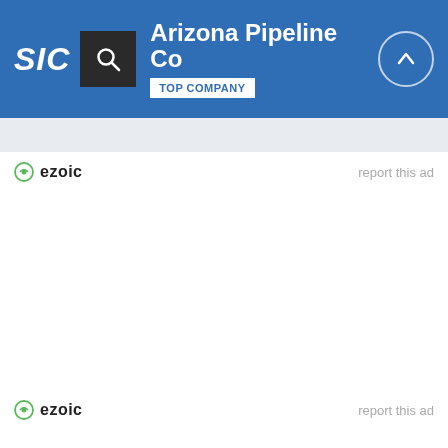SIC | Arizona Pipeline Co | TOP COMPANY
[Figure (screenshot): Ezoic ad label with green circular icon and 'report this ad' text on the right]
[Figure (screenshot): Ezoic ad label with green circular icon and 'report this ad' text on the right (bottom)]